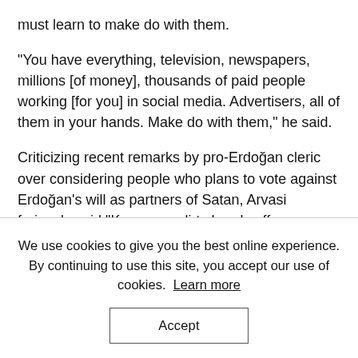must learn to make do with them.
“You have everything, television, newspapers, millions [of money], thousands of paid people working [for you] in social media. Advertisers, all of them in your hands. Make do with them,” he said.
Criticizing recent remarks by pro-Erdoğan cleric over considering people who plans to vote against Erdoğan’s will as partners of Satan, Arvasi furiously said “Keep your dirty hands off our religion, our faith, our Quran.”
We use cookies to give you the best online experience. By continuing to use this site, you accept our use of cookies. Learn more
Accept